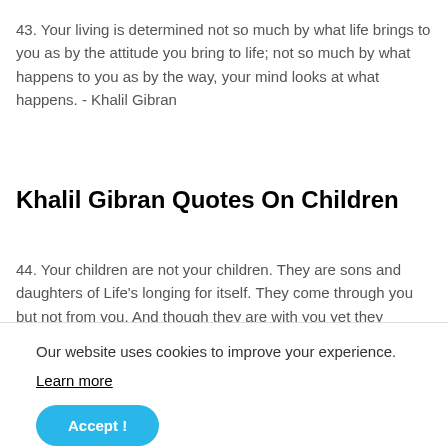43. Your living is determined not so much by what life brings to you as by the attitude you bring to life; not so much by what happens to you as by the way, your mind looks at what happens. - Khalil Gibran
Khalil Gibran Quotes On Children
44. Your children are not your children. They are sons and daughters of Life's longing for itself. They come through you but not from you. And though they are with you yet they belong not to you. - Khalil Gibran
Our website uses cookies to improve your experience.
Learn more
45. The things which the child loves remain in the domain of